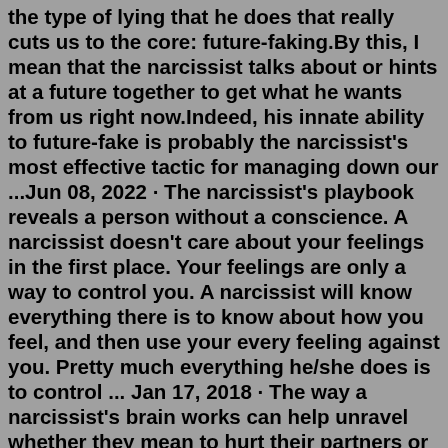the type of lying that he does that really cuts us to the core: future-faking.By this, I mean that the narcissist talks about or hints at a future together to get what he wants from us right now.Indeed, his innate ability to future-fake is probably the narcissist's most effective tactic for managing down our ...Jun 08, 2022 · The narcissist's playbook reveals a person without a conscience. A narcissist doesn't care about your feelings in the first place. Your feelings are only a way to control you. A narcissist will know everything there is to know about how you feel, and then use your every feeling against you. Pretty much everything he/she does is to control ... Jan 17, 2018 · The way a narcissist's brain works can help unravel whether they mean to hurt their partners or not A personality test that measures 24 'character strengths' could change the way you view your ... Narcissists are hypersensitive to any perceived critique. Feedback other than flattery feels like a slight and can trigger extreme anger. They feel deeply injured by criticism and have an excessive need for praise and admiration.